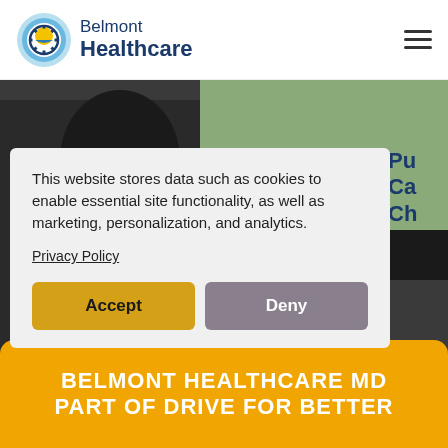[Figure (logo): Belmont Healthcare logo with circular sun/gear icon and text]
Belmont Healthcare
[Figure (photo): Background photo of people outdoors, partially visible behind cookie consent modal]
This website stores data such as cookies to enable essential site functionality, as well as marketing, personalization, and analytics.
Privacy Policy
Accept
Deny
BELMONT HEALTHCARE MD PART OF DRIVE FOR BETTER